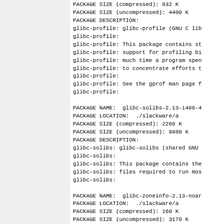PACKAGE SIZE (compressed):  832 K
PACKAGE SIZE (uncompressed):  4400 K
PACKAGE DESCRIPTION:
glibc-profile: glibc-profile (GNU C lib
glibc-profile:
glibc-profile: This package contains st
glibc-profile: support for profiling bi
glibc-profile: much time a program spen
glibc-profile: to concentrate efforts t
glibc-profile:
glibc-profile: See the gprof man page f
glibc-profile:

PACKAGE NAME:  glibc-solibs-2.13-i486-4
PACKAGE LOCATION:  ./slackware/a
PACKAGE SIZE (compressed):  2268 K
PACKAGE SIZE (uncompressed):  9880 K
PACKAGE DESCRIPTION:
glibc-solibs: glibc-solibs (shared GNU
glibc-solibs:
glibc-solibs: This package contains the
glibc-solibs: files required to run mos
glibc-solibs:

PACKAGE NAME:  glibc-zoneinfo-2.13-noar
PACKAGE LOCATION:  ./slackware/a
PACKAGE SIZE (compressed):  160 K
PACKAGE SIZE (uncompressed):  3170 K
PACKAGE DESCRIPTION:
glibc-zoneinfo: glibc-zoneinfo (timezon
glibc-zoneinfo: